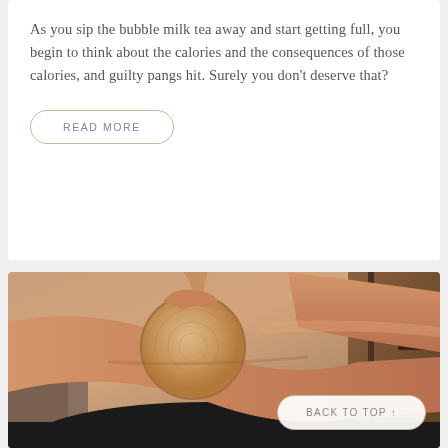As you sip the bubble milk tea away and start getting full, you begin to think about the calories and the consequences of those calories, and guilty pangs hit. Surely you don't deserve that?
READ MORE
[Figure (photo): Close-up photo of a person holding a round wooden paddle/brush near their arm, wearing a black top. Warm skin tones with a blurred background.]
BACK TO TOP ↑